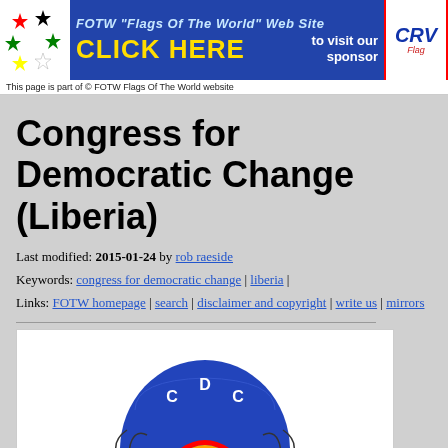[Figure (other): FOTW Flags Of The World banner advertisement with stars logo, CLICK HERE text, and CRV Flags sponsor logo]
This page is part of © FOTW Flags Of The World website
Congress for Democratic Change (Liberia)
Last modified: 2015-01-24 by rob raeside
Keywords: congress for democratic change | liberia |
Links: FOTW homepage | search | disclaimer and copyright | write us | mirrors
[Figure (logo): CDC (Congress for Democratic Change) logo/emblem showing a blue shield with rainbow, green leaf, rising sun, and decorative elements with red and blue ribbons]